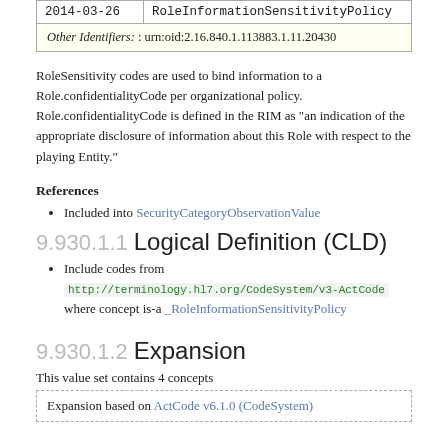| Date | Name |
| --- | --- |
| 2014-03-26 | RoleInformationSensitivityPolicy |
Other Identifiers: : urn:oid:2.16.840.1.113883.1.11.20430
RoleSensitivity codes are used to bind information to a Role.confidentialityCode per organizational policy. Role.confidentialityCode is defined in the RIM as "an indication of the appropriate disclosure of information about this Role with respect to the playing Entity."
References
Included into SecurityCategoryObservationValue
9.930.1.1 Logical Definition (CLD)
Include codes from http://terminology.hl7.org/CodeSystem/v3-ActCode where concept is-a _RoleInformationSensitivityPolicy
9.930.1.2 Expansion
This value set contains 4 concepts
Expansion based on ActCode v6.1.0 (CodeSystem)